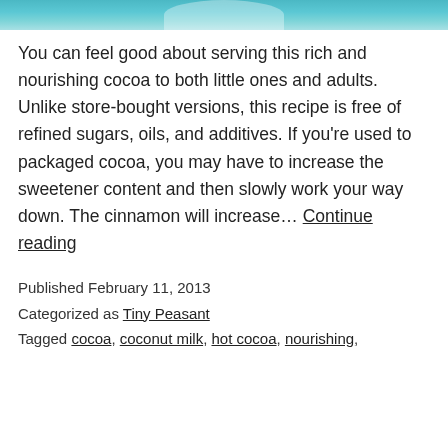[Figure (photo): Top strip of a photo showing a teal/blue liquid or beverage, partially visible at the top of the page]
You can feel good about serving this rich and nourishing cocoa to both little ones and adults. Unlike store-bought versions, this recipe is free of refined sugars, oils, and additives. If you're used to packaged cocoa, you may have to increase the sweetener content and then slowly work your way down. The cinnamon will increase… Continue reading
Published February 11, 2013
Categorized as Tiny Peasant
Tagged cocoa, coconut milk, hot cocoa, nourishing,